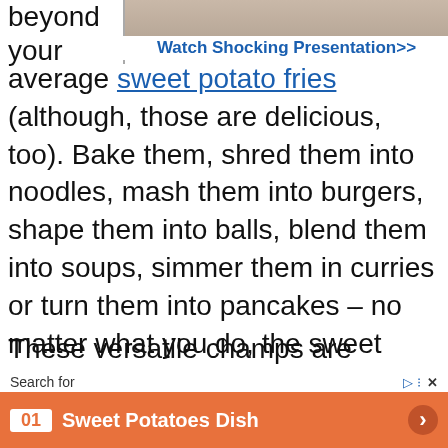beyond your
[Figure (photo): Partial photo of a person, top portion visible, above an advertisement banner]
Watch Shocking Presentation>>
average sweet potato fries (although, those are delicious, too). Bake them, shred them into noodles, mash them into burgers, shape them into balls, blend them into soups, simmer them in curries or turn them into pancakes – no matter what you do, the sweet potato can hold up to it!
These versatile champs are packed with vitamins, fiber and antioxidants, so you'll want to keep them exciting as long as poss t pota
Search for
01 Sweet Potatoes Dish